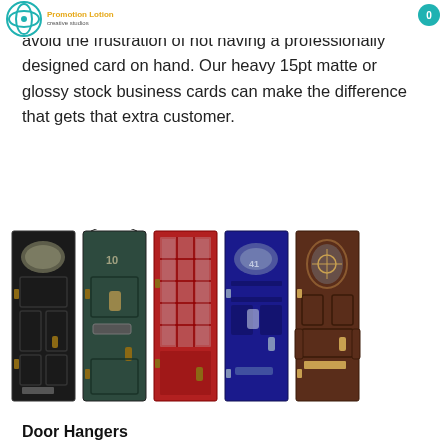Promotion Lotion creative studios | 0
your business card will arise. ORDER TODAY and avoid the frustration of not having a professionally designed card on hand. Our heavy 15pt matte or glossy stock business cards can make the difference that gets that extra customer.
[Figure (photo): Five decorative front doors in a row: black, dark green, red, navy blue, and dark brown/mahogany, each with distinctive glass panels, hardware, and house numbers.]
Door Hangers